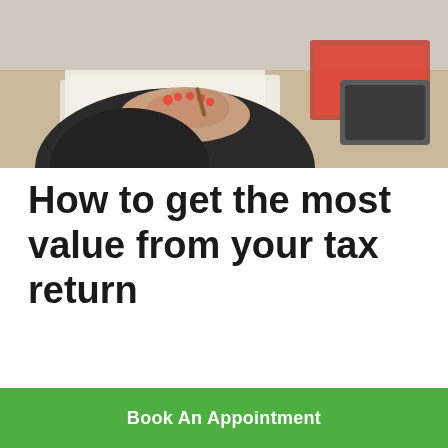[Figure (photo): A person with red-painted nails sitting at a desk with papers and documents, holding a pen, with office equipment visible in the background.]
How to get the most value from your tax return
Book An Appointment